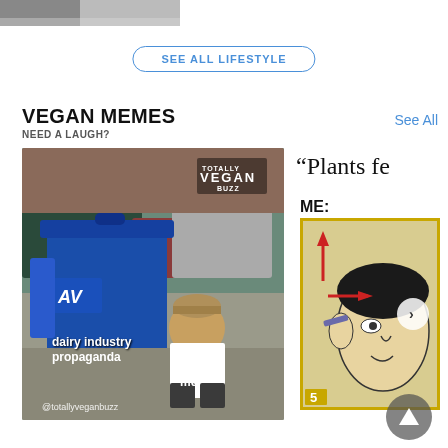[Figure (photo): Partial view of a photo strip showing legs/people at the top of the page]
SEE ALL LIFESTYLE
VEGAN MEMES
NEED A LAUGH?
See All
[Figure (photo): Meme photo: person crouching near a blue recycling/trash bin labeled with dairy industry propaganda text. Labeled 'dairy industry propaganda' with arrow to bin and 'me' with arrow to person. @totallyveganbuzz watermark. 'TOTALLY VEGAN BUZZ' logo top right.]
[Figure (illustration): Partial meme showing text '"Plants fe' and 'ME:' with a cartoon illustration of a person with arrows pointing at their ear/head, yellow border, number 5 badge, and a navigation arrow.]